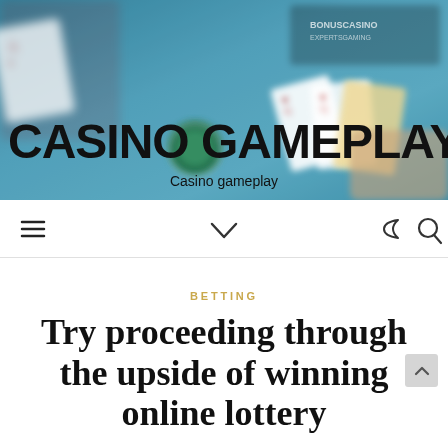[Figure (photo): Casino table with playing cards and chips on a teal/blue felt surface, with hands holding cards visible]
CASINO GAMEPLAY
Casino gameplay
[Figure (other): Navigation bar with hamburger menu icon, chevron/arrow icon, moon icon, and search icon]
BETTING
Try proceeding through the upside of winning online lottery